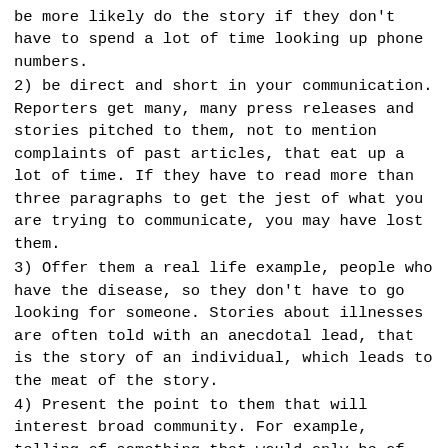be more likely do the story if they don't have to spend a lot of time looking up phone numbers.
2) be direct and short in your communication. Reporters get many, many press releases and stories pitched to them, not to mention complaints of past articles, that eat up a lot of time. If they have to read more than three paragraphs to get the jest of what you are trying to communicate, you may have lost them.
3) Offer them a real life example, people who have the disease, so they don't have to go looking for someone. Stories about illnesses are often told with an anecdotal lead, that is the story of an individual, which leads to the meat of the story.
4) Present the point to them that will interest broad community. For example, telling of something that would only be of interest to CFS patients, will likely not get their attention. But telling something that interests community at large, will likely be more "newsworthy" in their minds.
5) Be persistent without being a pest. A phone conversation might be helpful. Even going down to talk to someone, if you can get past the receptionist. E-mail, of course. There is a fine line between being available, reminders and being right there when the reporter is looking for a story, and becoming a pest.